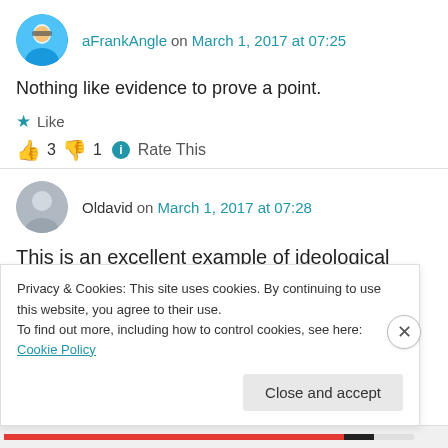aFrankAngle on March 1, 2017 at 07:25
Nothing like evidence to prove a point.
Like
👍 3 👎 1 ℹ Rate This
Oldavid on March 1, 2017 at 07:28
This is an excellent example of ideological
Privacy & Cookies: This site uses cookies. By continuing to use this website, you agree to their use.
To find out more, including how to control cookies, see here: Cookie Policy
Close and accept